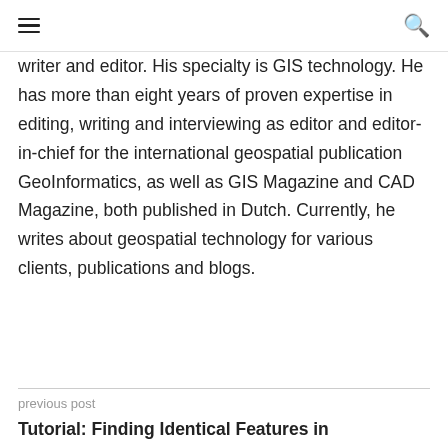≡  🔍
writer and editor. His specialty is GIS technology. He has more than eight years of proven expertise in editing, writing and interviewing as editor and editor-in-chief for the international geospatial publication GeoInformatics, as well as GIS Magazine and CAD Magazine, both published in Dutch. Currently, he writes about geospatial technology for various clients, publications and blogs.
previous post
Tutorial: Finding Identical Features in